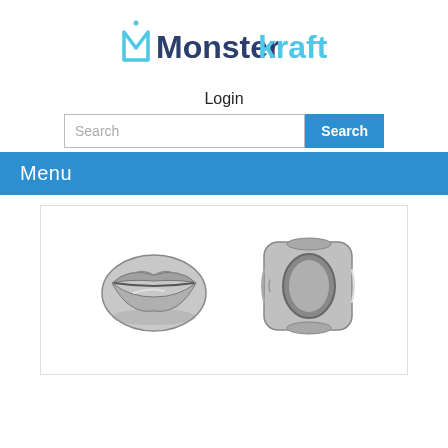[Figure (logo): Monsterkraft logo with stylized M icon and bold text 'Monsterkraft' where 'Monster' is in dark blue-gray and 'kraft' is in light blue]
Login
[Figure (screenshot): Search input field with placeholder text 'Search' and a blue 'Search' button]
Menu
[Figure (photo): Two silver metal bead charms shaped like lips — one showing the front face with raised lip design, one showing the side/back with a large hole for stringing]